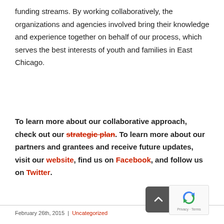funding streams. By working collaboratively, the organizations and agencies involved bring their knowledge and experience together on behalf of our process, which serves the best interests of youth and families in East Chicago.
To learn more about our collaborative approach, check out our strategic plan. To learn more about our partners and grantees and receive future updates, visit our website, find us on Facebook, and follow us on Twitter.
February 26th, 2015  |  Uncategorized